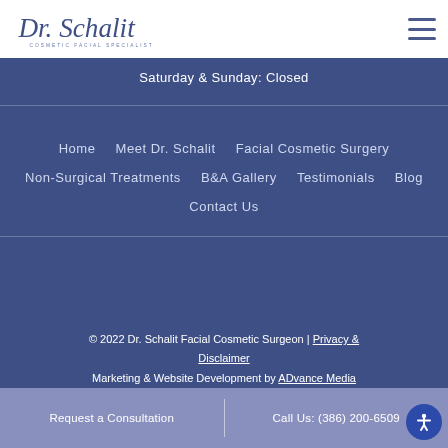[Figure (logo): Dr. Schalit Cosmetic Facial Specialist script logo]
Saturday & Sunday: Closed
Home | Meet Dr. Schalit | Facial Cosmetic Surgery
Non-Surgical Treatments | B&A Gallery | Testimonials | Blog
Contact Us
© 2022 Dr. Schalit Facial Cosmetic Surgeon | Privacy & Disclaimer
Marketing & Website Development by ADvance Media
Request a Consultation | Call Us: (386) 200-6509